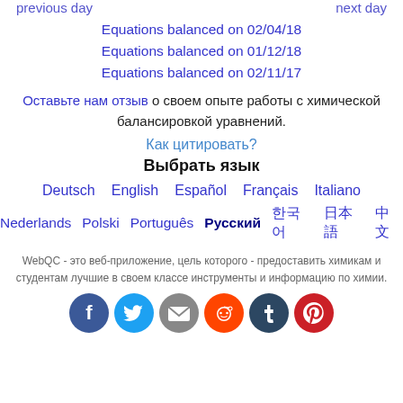previous day    next day
Equations balanced on 02/04/18
Equations balanced on 01/12/18
Equations balanced on 02/11/17
Оставьте нам отзыв о своем опыте работы с химической балансировкой уравнений.
Как цитировать?
Выбрать язык
Deutsch  English  Español  Français  Italiano
Nederlands  Polski  Português  Русский  한국어  日本語  中文
WebQC - это веб-приложение, цель которого - предоставить химикам и студентам лучшие в своем классе инструменты и информацию по химии.
[Figure (infographic): Social share buttons: Facebook, Twitter, Email, Reddit, Tumblr, Pinterest]